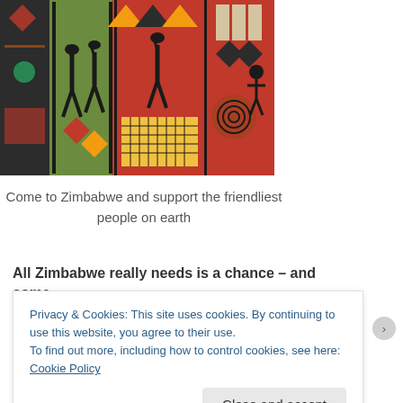[Figure (photo): Colorful African textile fabrics hanging, featuring geometric patterns, animals (giraffes), and traditional African designs in red, green, yellow, and black colors.]
Come to Zimbabwe and support the friendliest people on earth
All Zimbabwe really needs is a chance – and some
Privacy & Cookies: This site uses cookies. By continuing to use this website, you agree to their use.
To find out more, including how to control cookies, see here: Cookie Policy
Close and accept